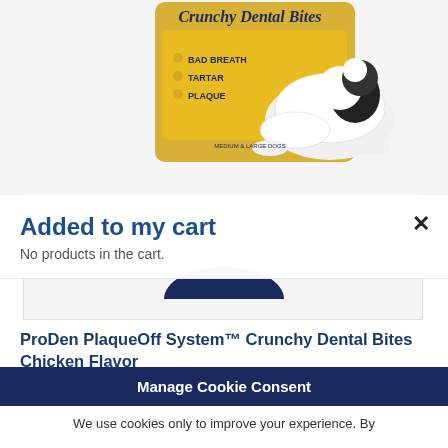[Figure (photo): Product image of ProDen PlaqueOff System Crunchy Dental Bites Chicken Flavor packaging with a large black and white dog lying down. The package is yellow/gold with text: BAD BREATH, TARTAR, PLAQUE. Below the product is a dark blue bowl/arc shape.]
Added to my cart
No products in the cart.
ProDen PlaqueOff System™ Crunchy Dental Bites Chicken Flavor
Crunchy Dental Bites are the perfect treat for the health-conscious pet owner. Our Crunchy Dental Bites contain the 100% natural, unique kelp ingredient A.N ProDen®, shown in clinical trials to help control and improve plaque and tartar and to help improve bad breath when
Manage Cookie Consent
We use cookies only to improve your experience. By